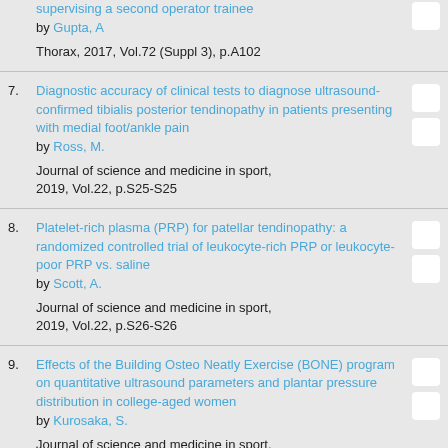supervising a second operator trainee by Gupta, A
Thorax, 2017, Vol.72 (Suppl 3), p.A102
7. Diagnostic accuracy of clinical tests to diagnose ultrasound-confirmed tibialis posterior tendinopathy in patients presenting with medial foot/ankle pain by Ross, M.
Journal of science and medicine in sport, 2019, Vol.22, p.S25-S25
8. Platelet-rich plasma (PRP) for patellar tendinopathy: a randomized controlled trial of leukocyte-rich PRP or leukocyte-poor PRP vs. saline by Scott, A.
Journal of science and medicine in sport, 2019, Vol.22, p.S26-S26
9. Effects of the Building Osteo Neatly Exercise (BONE) program on quantitative ultrasound parameters and plantar pressure distribution in college-aged women by Kurosaka, S.
Journal of science and medicine in sport,